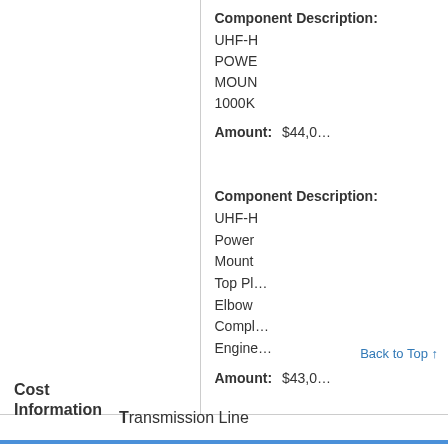|  | Field | Value |
| --- | --- | --- |
|  | Component Description: | UHF-H... POWE... MOUN... 1000K... |
|  | Amount: | $44,0... |
|  | Component Description: | UHF-H... Power... Mount... Top Pl... Elbow... Compl... Engine... |
|  | Amount: | $43,0... |
Back to Top ↑
Cost Information
Transmission Line